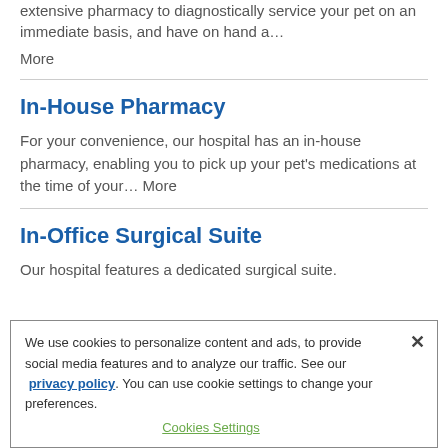extensive pharmacy to diagnostically service your pet on an immediate basis, and have on hand a… More
In-House Pharmacy
For your convenience, our hospital has an in-house pharmacy, enabling you to pick up your pet's medications at the time of your… More
In-Office Surgical Suite
Our hospital features a dedicated surgical suite.
We use cookies to personalize content and ads, to provide social media features and to analyze our traffic. See our privacy policy. You can use cookie settings to change your preferences.
Cookies Settings